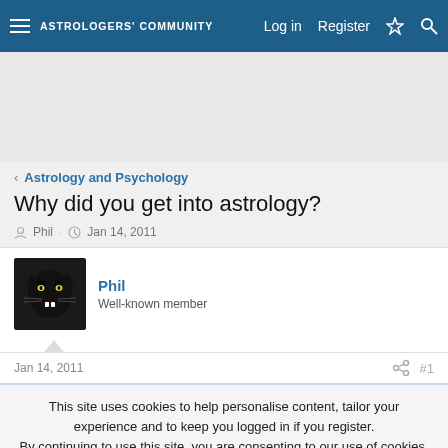ASTROLOGERS COMMUNITY — Log in   Register
[Figure (other): Advertisement banner area (gray placeholder)]
< Astrology and Psychology
Why did you get into astrology?
Phil · Jan 14, 2011
Phil
Well-known member
Jan 14, 2011   #1
This site uses cookies to help personalise content, tailor your experience and to keep you logged in if you register.
By continuing to use this site, you are consenting to our use of cookies.
✓ Accept   Learn more...